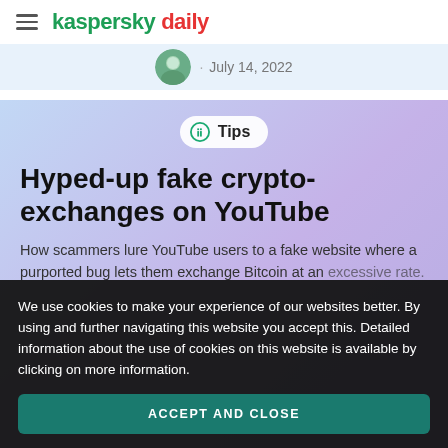kaspersky daily
July 14, 2022
[Figure (screenshot): Hero image card with gradient purple-blue background showing Tips badge, article title and subtitle]
Hyped-up fake crypto-exchanges on YouTube
How scammers lure YouTube users to a fake website where a purported bug lets them exchange Bitcoin at an
We use cookies to make your experience of our websites better. By using and further navigating this website you accept this. Detailed information about the use of cookies on this website is available by clicking on more information.
ACCEPT AND CLOSE